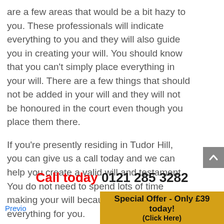are a few areas that would be a bit hazy to you. These professionals will indicate everything to you and they will also guide you in creating your will. You should know that you can't simply place everything in your will. There are a few things that should not be added in your will and they will not be honoured in the court even though you place them there.
If you're presently residing in Tudor Hill, you can give us a call today and we can help you create a valid will and testament. You do not need to spend lots of time making your will because we will do everything for you.
Call today 0121 285 3282
Special Offer - Only £39 today! (Click Here)
Previo